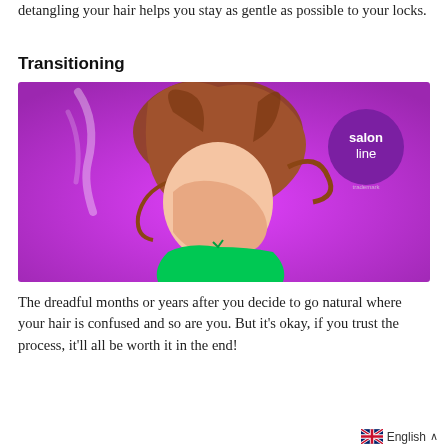detangling your hair helps you stay as gentle as possible to your locks.
Transitioning
[Figure (photo): Woman in a green halter top with curly/wavy hair flying in the air against a bright purple/magenta background. A 'salon line' purple circular logo appears in the upper right corner of the image.]
The dreadful months or years after you decide to go natural where your hair is confused and so are you. But it's okay, if you trust the process, it'll all be worth it in the end!
English